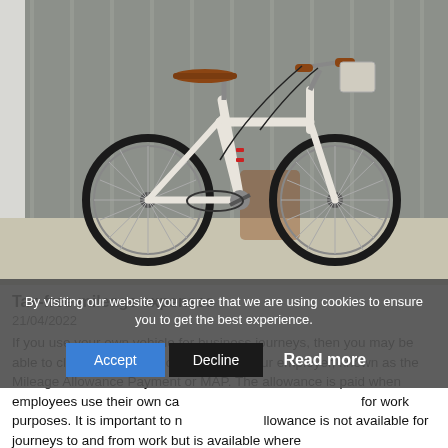[Figure (photo): A cream/white vintage city bicycle with brown leather saddle and grips, parked in front of corrugated metal garage doors on a concrete surface in sunlight.]
Tax-free mileage expenses
21/04/2022
If you use your own vehicle for business journeys, then you may be able to claim a tax-free allowance from your employer, known as the Mileage Allowance Payment or MAP. The allowance is paid when employees use their own cars, vans, motorcycles or bikes for work purposes. It is important to note that this allowance is not available for journeys to and from work but is available where an
By visiting our website you agree that we are using cookies to ensure you to get the best experience.
Accept   Decline   Read more